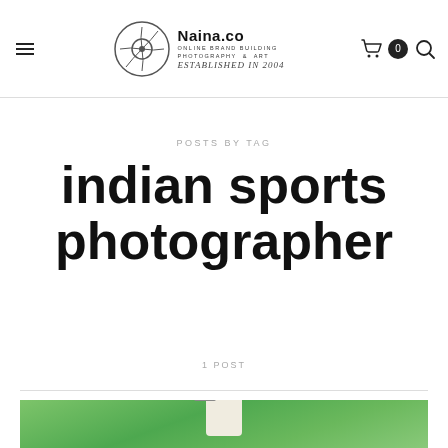Naina.co | ONLINE BRAND BUILDING PHOTOGRAPHY & ART | ESTABLISHED IN 2004
POSTS BY TAG
indian sports photographer
1 POST
[Figure (photo): Photograph of a person (seen from behind) wearing a white cap and light shirt, holding a camera, with a vivid green background (likely a sports field)]